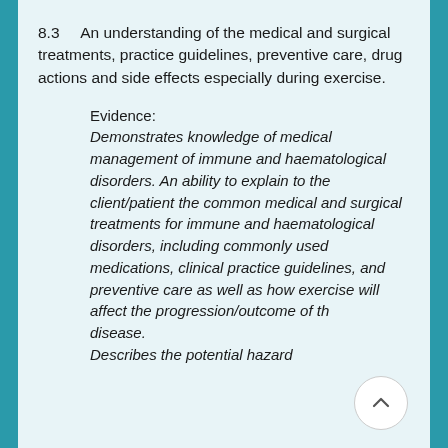8.3    An understanding of the medical and surgical treatments, practice guidelines, preventive care, drug actions and side effects especially during exercise.
Evidence:
Demonstrates knowledge of medical management of immune and haematological disorders. An ability to explain to the client/patient the common medical and surgical treatments for immune and haematological disorders, including commonly used medications, clinical practice guidelines, and preventive care as well as how exercise will affect the progression/outcome of the disease.
Describes the potential hazards...